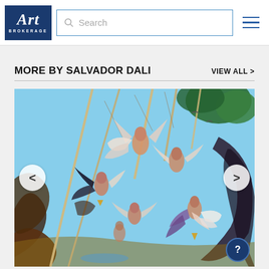Art Brokerage — Search navigation header
MORE BY SALVADOR DALI
VIEW ALL >
[Figure (photo): A Salvador Dali surrealist artwork showing multiple winged figures/angels suspended by ropes or poles against a blue sky background, with dark swirling forms on the sides. Carousel navigation arrows (< and >) are visible on the left and right sides.]